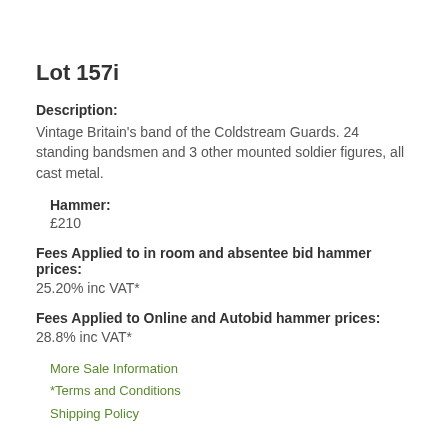Lot 157i
Description:
Vintage Britain's band of the Coldstream Guards. 24 standing bandsmen and 3 other mounted soldier figures, all cast metal.
Hammer:
£210
Fees Applied to in room and absentee bid hammer prices:
25.20% inc VAT*
Fees Applied to Online and Autobid hammer prices:
28.8% inc VAT*
More Sale Information
*Terms and Conditions
Shipping Policy